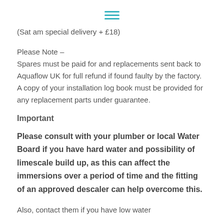≡
(Sat am special delivery + £18)
Please Note –
Spares must be paid for and replacements sent back to Aquaflow UK for full refund if found faulty by the factory. A copy of your installation log book must be provided for any replacement parts under guarantee.
Important
Please consult with your plumber or local Water Board if you have hard water and possibility of limescale build up, as this can affect the immersions over a period of time and the fitting of an approved descaler can help overcome this.
Also, contact them if you have low water